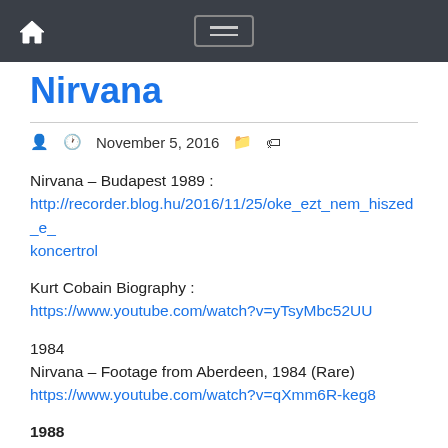Navigation bar with home icon and hamburger menu
Nirvana
November 5, 2016
Nirvana – Budapest 1989 :
http://recorder.blog.hu/2016/11/25/oke_ezt_nem_hiszed_e_koncertrol
Kurt Cobain Biography :
https://www.youtube.com/watch?v=yTsyMbc52UU
1984
Nirvana – Footage from Aberdeen, 1984 (Rare)
https://www.youtube.com/watch?v=qXmm6R-keg8
1988